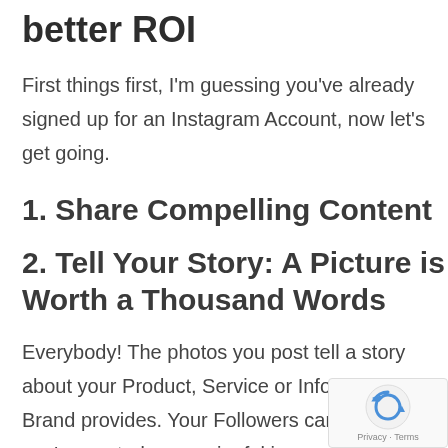better ROI
First things first, I'm guessing you've already signed up for an Instagram Account, now let's get going.
1. Share Compelling Content
2. Tell Your Story: A Picture is Worth a Thousand Words
Everybody! The photos you post tell a story about your Product, Service or Information your Brand provides. Your Followers can tell when you've posted a meaningful image or photograph. Being authentic a…